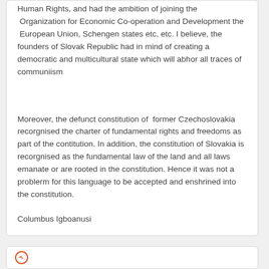Human Rights, and had the ambition of joining the Organization for Economic Co-operation and Development the European Union, Schengen states etc, etc. I believe, the founders of Slovak Republic had in mind of creating a democratic and multicultural state which will abhor all traces of communiism
Moreover, the defunct constitution of former Czechoslovakia recorgnised the charter of fundamental rights and freedoms as part of the contitution. In addition, the constitution of Slovakia is recorgnised as the fundamental law of the land and all laws emanate or are rooted in the constitution. Hence it was not a problerm for this language to be accepted and enshrined into the constitution.
Columbus Igboanusi